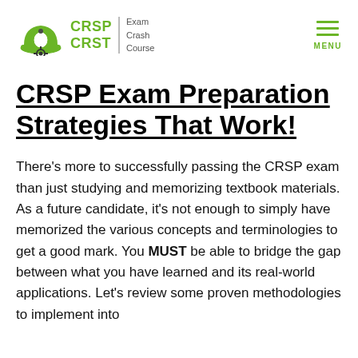[Figure (logo): CRSP CRST Exam Crash Course logo with green hard-hat icon and text]
CRSP Exam Preparation Strategies That Work!
There’s more to successfully passing the CRSP exam than just studying and memorizing textbook materials. As a future candidate, it’s not enough to simply have memorized the various concepts and terminologies to get a good mark. You MUST be able to bridge the gap between what you have learned and its real-world applications. Let’s review some proven methodologies to implement into